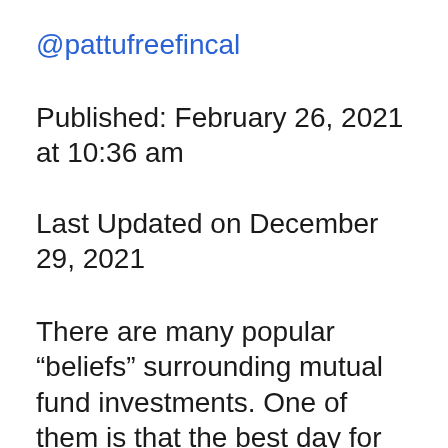@pattufreefincal
Published: February 26, 2021 at 10:36 am
Last Updated on December 29, 2021
There are many popular “beliefs” surrounding mutual fund investments. One of them is that the best day for monthly investment is the last Thursday of the month...